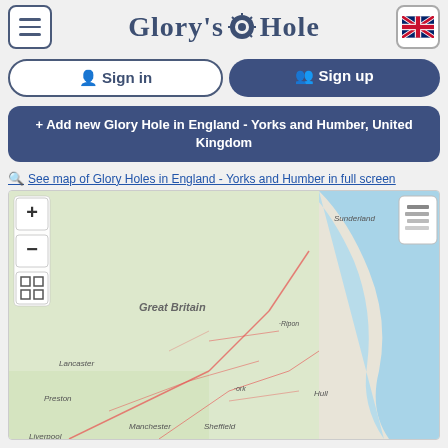Glory's Hole
Sign in
Sign up
+ Add new Glory Hole in England - Yorks and Humber, United Kingdom
See map of Glory Holes in England - Yorks and Humber in full screen
[Figure (map): Interactive map showing Glory Hole locations in England - Yorkshire and Humber region. Multiple dark pin markers with the Glory's Hole logo are clustered around Yorkshire area including Sheffield, Hull, and surrounding areas. Map shows Great Britain with cities including Sunderland, Lancaster, Preston, Manchester, Liverpool, Ripon, Sheffield, Hull visible. Map controls include zoom in (+), zoom out (-), and fullscreen buttons on left side, and layer selector on right side.]